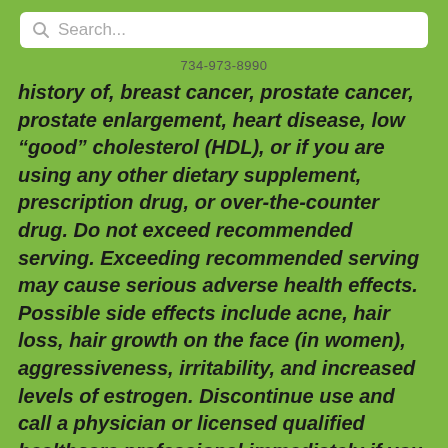[Figure (screenshot): Search bar UI element with magnifying glass icon and placeholder text 'Search...']
734-973-8990
history of, breast cancer, prostate cancer, prostate enlargement, heart disease, low “good” cholesterol (HDL), or if you are using any other dietary supplement, prescription drug, or over-the-counter drug. Do not exceed recommended serving. Exceeding recommended serving may cause serious adverse health effects. Possible side effects include acne, hair loss, hair growth on the face (in women), aggressiveness, irritability, and increased levels of estrogen. Discontinue use and call a physician or licensed qualified healthcare professional immediately if you experience rapid heartbeat, dizziness, blurred vision, or other similar symptoms. KEEP OUT OF REACH OF CHILDREN. To report any adverse event call 1-